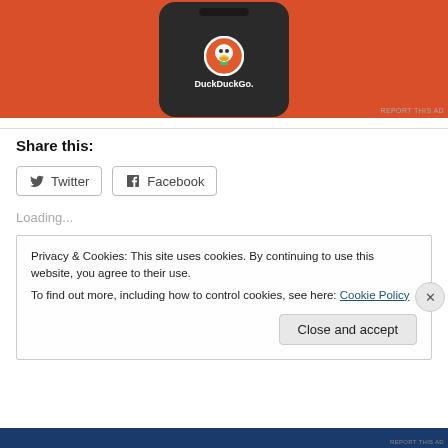[Figure (screenshot): DuckDuckGo app advertisement showing a phone mockup with the DuckDuckGo logo on an orange background]
REPORT THIS AD
Share this:
Twitter
Facebook
Loading...
Privacy & Cookies: This site uses cookies. By continuing to use this website, you agree to their use.
To find out more, including how to control cookies, see here: Cookie Policy
Close and accept